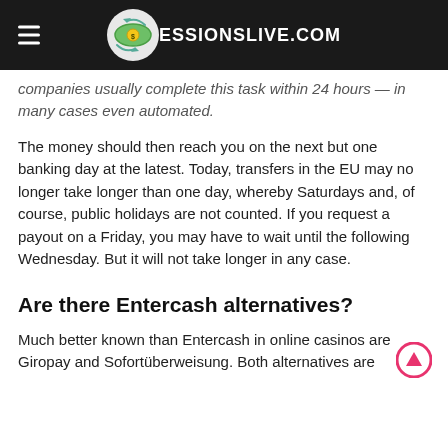ESSIONSLIVE.COM
companies usually complete this task within 24 hours — in many cases even automated.
The money should then reach you on the next but one banking day at the latest. Today, transfers in the EU may no longer take longer than one day, whereby Saturdays and, of course, public holidays are not counted. If you request a payout on a Friday, you may have to wait until the following Wednesday. But it will not take longer in any case.
Are there Entercash alternatives?
Much better known than Entercash in online casinos are Giropay and Sofortüberweisung. Both alternatives are